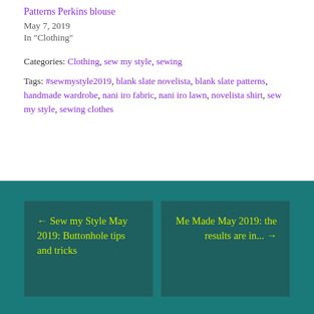Patterns Perkins blouse
May 7, 2019
In "Clothing"
Categories: Clothing, sew my style, sewing
Tags: #sewmystyle2019, blank slate novelista, blank slate patterns, handmade wardrobe, nani iro fabric, nani iro lawn, novelista shirt, sew my style, sewing clothes
← Sew my Style May 2019: Buttonhole tips and tricks
Me Made May 2019: the results are in... →